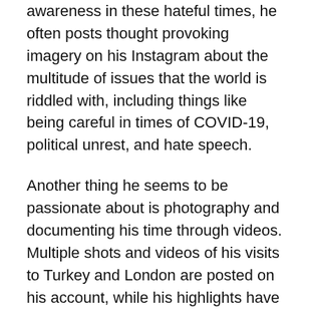awareness in these hateful times, he often posts thought provoking imagery on his Instagram about the multitude of issues that the world is riddled with, including things like being careful in times of COVID-19, political unrest, and hate speech.
Another thing he seems to be passionate about is photography and documenting his time through videos. Multiple shots and videos of his visits to Turkey and London are posted on his account, while his highlights have a number of TikTok (@mardin.uk) clips of him engaging in regular activities like barbecuing, driving on the wide streets of London, admiring the scenery on the mountain regions in Turkey, and admiring the ample beauty around him.